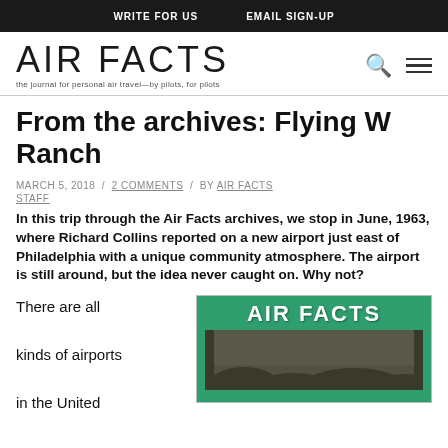WRITE FOR US   EMAIL SIGN-UP
AIR FACTS
the journal for personal air travel—by pilots, for pilots
From the archives: Flying W Ranch
MARCH 5, 2018 / 2 COMMENTS / BY AIR FACTS STAFF
In this trip through the Air Facts archives, we stop in June, 1963, where Richard Collins reported on a new airport just east of Philadelphia with a unique community atmosphere. The airport is still around, but the idea never caught on. Why not?
There are all kinds of airports in the United
[Figure (illustration): Cover of Air Facts magazine, green background with white text reading AIR FACTS, with a black and white aerial photograph below]